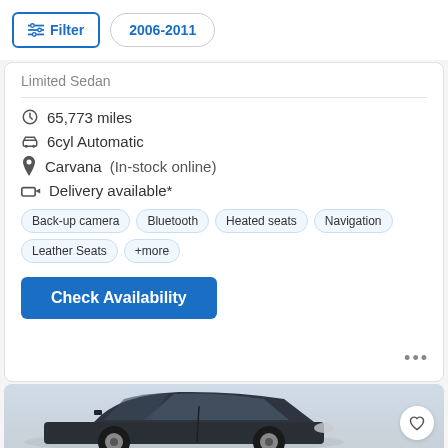Filter | 2006-2011
Limited Sedan
65,773 miles
6cyl Automatic
Carvana (In-stock online)
Delivery available*
Back-up camera | Bluetooth | Heated seats | Navigation | Leather Seats | +more
Check Availability
[Figure (photo): Dark colored sedan car photographed from front-left angle against a light background]